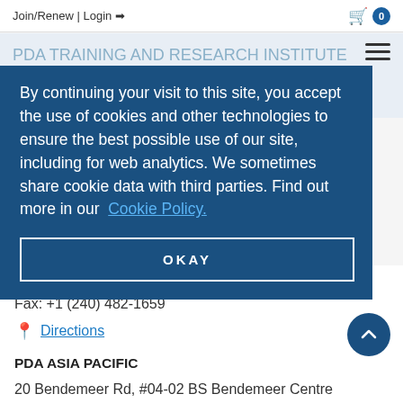Join/Renew | Login
By continuing your visit to this site, you accept the use of cookies and other technologies to ensure the best possible use of our site, including for web analytics. We sometimes share cookie data with third parties. Find out more in our Cookie Policy.
OKAY
Fax: +1 (240) 482-1659
Directions
PDA ASIA PACIFIC
20 Bendemeer Rd, #04-02 BS Bendemeer Centre Singapore 339914